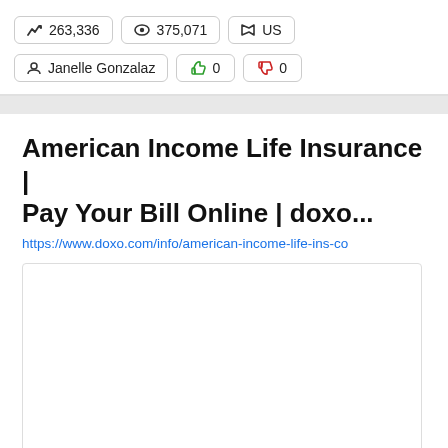263,336  375,071  US
Janelle Gonzalaz  👍 0  👎 0
American Income Life Insurance | Pay Your Bill Online | doxo...
https://www.doxo.com/info/american-income-life-ins-co
[Figure (screenshot): Empty white preview box with light border]